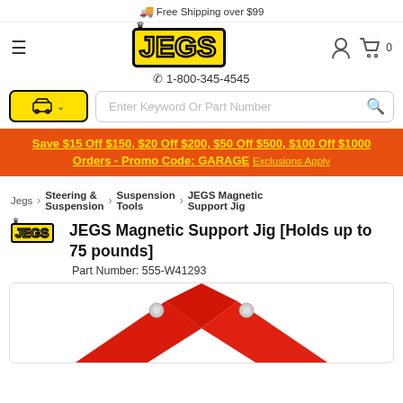🚚 Free Shipping over $99
[Figure (logo): JEGS logo with crown, yellow text with black border]
☎ 1-800-345-4545
Save $15 Off $150, $20 Off $200, $50 Off $500, $100 Off $1000 Orders - Promo Code: GARAGE Exclusions Apply
Jegs > Steering & Suspension > Suspension Tools > JEGS Magnetic Support Jig
JEGS Magnetic Support Jig [Holds up to 75 pounds]
Part Number: 555-W41293
[Figure (photo): Red magnetic support jig, top portion visible showing angled shape with silver bolt holes]